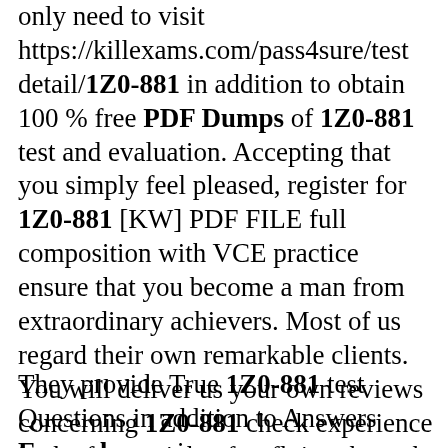only need to visit https://killexams.com/pass4sure/test detail/1Z0-881 in addition to obtain 100 % free PDF Dumps of 1Z0-881 test and evaluation. Accepting that you simply feel pleased, register for 1Z0-881 [KW] PDF FILE full composition with VCE practice ensure that you become a man from extraordinary achievers. Most of us regard their own remarkable clients. You will deliver us your own reviews concerning 1Z0-881 check experience in the future right after flying through the certifiable 1Z0-881 check.
They provide True 1Z0-881 test Questions in addition to Answers Exam dumps in a